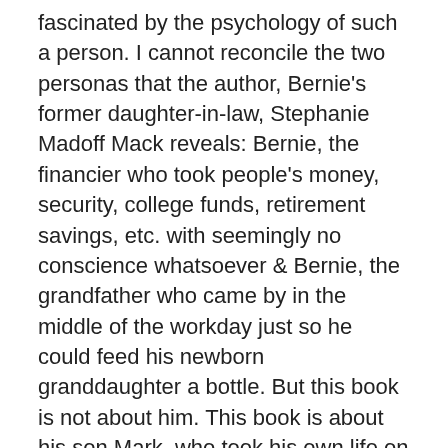fascinated by the psychology of such a person.  I cannot reconcile the two personas that the author, Bernie's former daughter-in-law, Stephanie Madoff Mack reveals:  Bernie, the financier who took people's money, security, college funds, retirement savings, etc. with seemingly no conscience whatsoever & Bernie, the grandfather who came by in the middle of the workday just so he could feed his newborn granddaughter a bottle.  But this book is not about him.  This book is about his son Mark, who took his own life on the 2nd anniversary of his father's arrest and the life he shared with his wife, the author, Stephanie Madoff Mack.
I'm not a lover of the media & have long been of the opinion that half of the things that are reported are not only grossly inaccurate but are stories I don't even need to know.  I will confess that when the Madoff scandal broke in